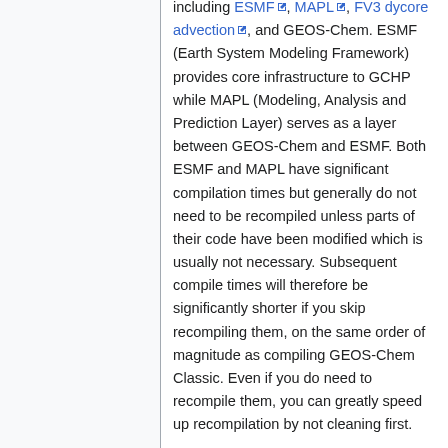including ESMF, MAPL, FV3 dycore advection, and GEOS-Chem. ESMF (Earth System Modeling Framework) provides core infrastructure to GCHP while MAPL (Modeling, Analysis and Prediction Layer) serves as a layer between GEOS-Chem and ESMF. Both ESMF and MAPL have significant compilation times but generally do not need to be recompiled unless parts of their code have been modified which is usually not necessary. Subsequent compile times will therefore be significantly shorter if you skip recompiling them, on the same order of magnitude as compiling GEOS-Chem Classic. Even if you do need to recompile them, you can greatly speed up recompilation by not cleaning first. This page provides instructions on how